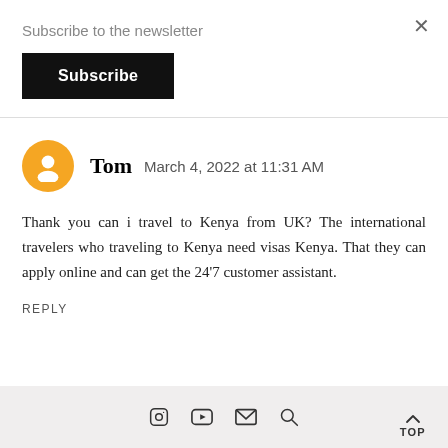Subscribe to the newsletter
Subscribe
Tom  March 4, 2022 at 11:31 AM
Thank you can i travel to Kenya from UK? The international travelers who traveling to Kenya need visas Kenya. That they can apply online and can get the 24'7 customer assistant.
REPLY
TOP